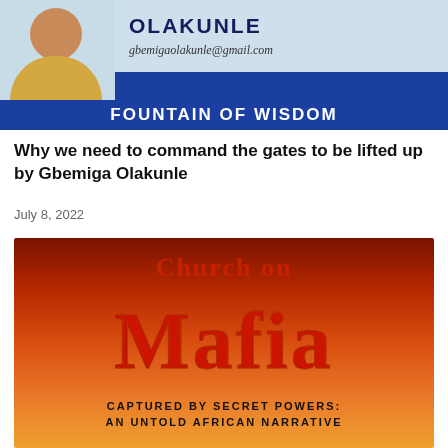[Figure (illustration): Header banner showing a photo of a man in a yellow top on the left, with the name OLAKUNLE and email gbemigaolakunle@gmail.com on the right on a light blue background, and a dark blue banner reading FOUNTAIN OF WISDOM spanning the full width at the bottom.]
Why we need to command the gates to be lifted up by Gbemiga Olakunle
July 8, 2022
[Figure (illustration): Book cover image with orange-red gradient background. Large red stylized text reads 'Church on Mafia' with subtitle 'CAPTURED BY SECRET POWERS: AN UNTOLD AFRICAN NARRATIVE' at the bottom in black bold text.]